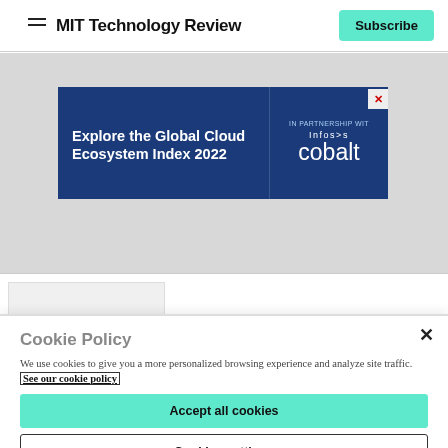MIT Technology Review
[Figure (infographic): MIT Technology Review website header with hamburger menu icon on the left, site title 'MIT Technology Review' in bold, and a teal 'Subscribe' button on the right]
[Figure (infographic): Advertisement banner: 'Explore the Global Cloud Ecosystem Index 2022' on blue background, with 'IN PARTNERSHIP WITH' text and Infosys cobalt logo on the right side]
Cookie Policy
We use cookies to give you a more personalized browsing experience and analyze site traffic. See our cookie policy
Accept all cookies
Cookies settings